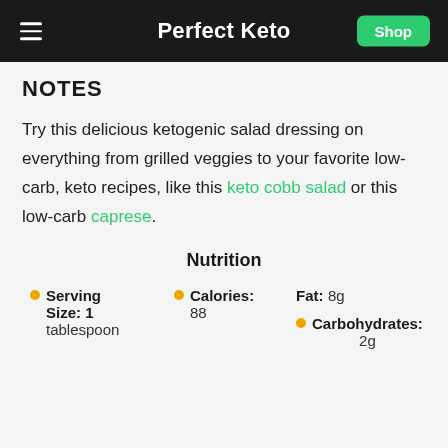Perfect Keto
NOTES
Try this delicious ketogenic salad dressing on everything from grilled veggies to your favorite low-carb, keto recipes, like this keto cobb salad or this low-carb caprese.
Nutrition
Serving Size: 1 tablespoon
Calories: 88
Fat: 8g
Carbohydrates: 2g